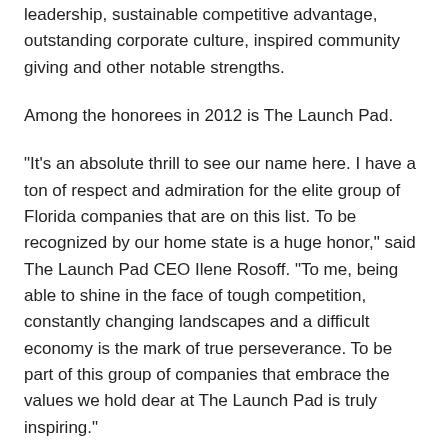leadership, sustainable competitive advantage, outstanding corporate culture, inspired community giving and other notable strengths.
Among the honorees in 2012 is The Launch Pad.
"It's an absolute thrill to see our name here. I have a ton of respect and admiration for the elite group of Florida companies that are on this list. To be recognized by our home state is a huge honor," said The Launch Pad CEO Ilene Rosoff. "To me, being able to shine in the face of tough competition, constantly changing landscapes and a difficult economy is the mark of true perseverance. To be part of this group of companies that embrace the values we hold dear at The Launch Pad is truly inspiring."
About The Launch Pad